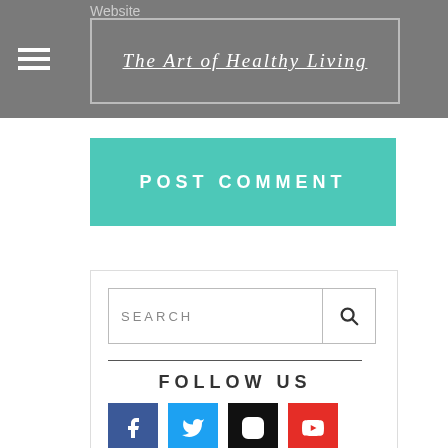Website
The Art of Healthy Living
POST COMMENT
[Figure (screenshot): Search bar with text input field and magnifying glass search button]
FOLLOW US
[Figure (infographic): Social media icons row: Facebook (blue), Twitter (light blue), Instagram (black), YouTube (red)]